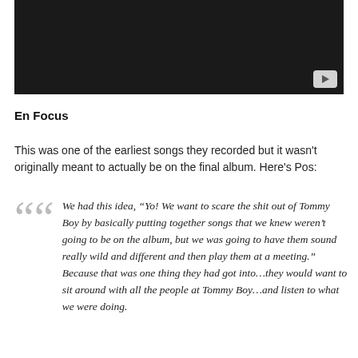[Figure (screenshot): Dark/black video thumbnail with a YouTube play button icon in the bottom-right corner]
En Focus
This was one of the earliest songs they recorded but it wasn't originally meant to actually be on the final album. Here's Pos:
We had this idea, “Yo! We want to scare the shit out of Tommy Boy by basically putting together songs that we knew weren’t going to be on the album, but we was going to have them sound really wild and different and then play them at a meeting.” Because that was one thing they had got into…they would want to sit around with all the people at Tommy Boy…and listen to what we were doing.